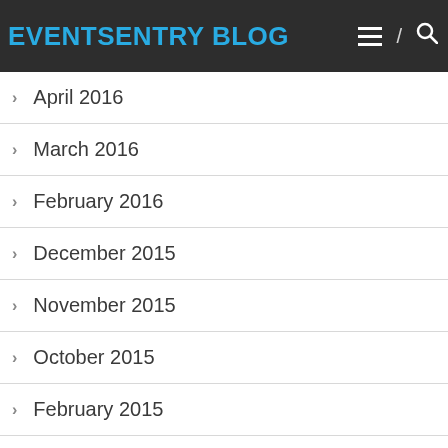EVENTSENTRY BLOG
April 2016
March 2016
February 2016
December 2015
November 2015
October 2015
February 2015
January 2015
October 2014
September 2014
August 2014